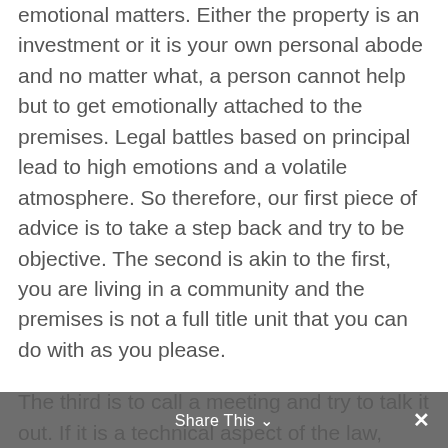emotional matters. Either the property is an investment or it is your own personal abode and no matter what, a person cannot help but to get emotionally attached to the premises. Legal battles based on principal lead to high emotions and a volatile atmosphere. So therefore, our first piece of advice is to take a step back and try to be objective. The second is akin to the first, you are living in a community and the premises is not a full title unit that you can do with as you please.

The third is to call a meeting and try to talk it out. If it is a technical aspect of the law, consult an attorney to assist you with your argument and if it needs to be put to a vote, find out what is required of you in terms of the Sectional Titles Act and regulations thereto. Examinify...
Share This ∨   ✕